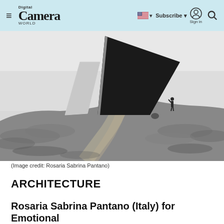Digital Camera World | Subscribe | Sign in
[Figure (photo): Black and white photograph showing a dramatic dark triangular architectural structure on a hilltop with a dirt road leading toward it and a small human figure visible on the right side of the hill]
(Image credit: Rosaria Sabrina Pantano)
ARCHITECTURE
Rosaria Sabrina Pantano (Italy) for Emotional